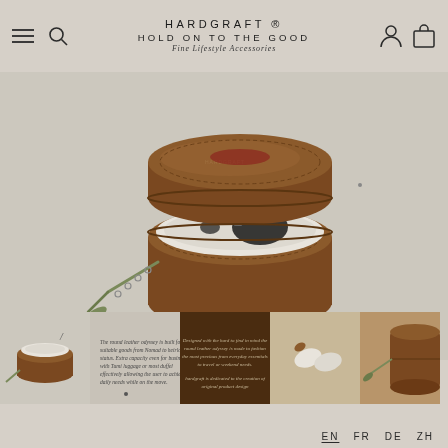HARDGRAFT ® HOLD ON TO THE GOOD Fine Lifestyle Accessories
[Figure (photo): Open round brown leather travel case with white interior lining, containing sunglasses, with a green keychain/tassel hanging from the zipper pull, photographed on a light gray background]
[Figure (photo): Thumbnail: small round brown leather case open showing white interior, front view]
[Figure (photo): Thumbnail: text panel with product description on dark brown background]
[Figure (photo): Thumbnail: brown leather case on dark brown background with white text]
[Figure (photo): Thumbnail: two white earbuds or capsules on beige/tan background]
[Figure (photo): Thumbnail: brown leather case partially visible on brown background]
EN  FR  DE  ZH